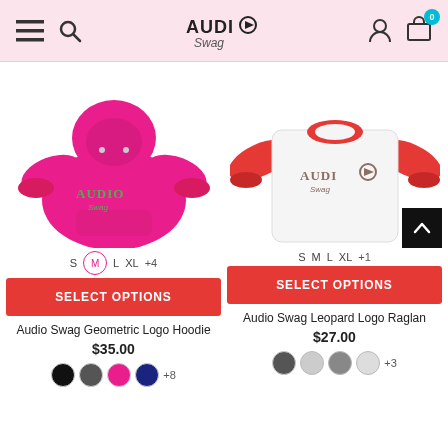Audio Swag header with menu, search, logo, user, and cart icons
[Figure (photo): Pink hoodie with Audio Swag geometric logo print]
S M L XL +4
SELECT OPTIONS
Audio Swag Geometric Logo Hoodie
$35.00
[Figure (photo): White/red raglan baseball shirt with Audio Swag leopard logo print]
S M L XL +1
SELECT OPTIONS
Audio Swag Leopard Logo Raglan
$27.00